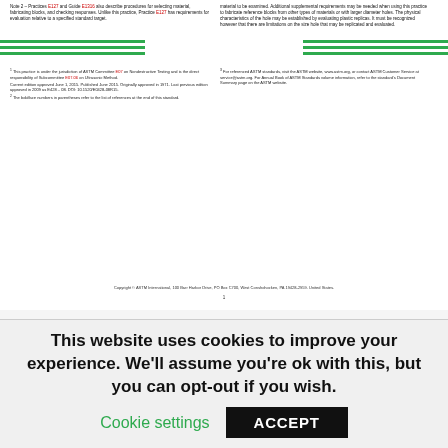[Figure (screenshot): Scanned ASTM standard document page showing two-column text with green horizontal rule lines, footnotes, and a copyright line at the bottom.]
Users of this standard are expressly advised that determination of the validity of any such patent rights, and the risk of infringement of such rights, are entirely their own responsibility. This practice shall in no way preclude the specification or addition of any supplemented requirements as deemed necessary for the specific application. In cases of materials that are
This website uses cookies to improve your experience. We'll assume you're ok with this, but you can opt-out if you wish.
Cookie settings   ACCEPT